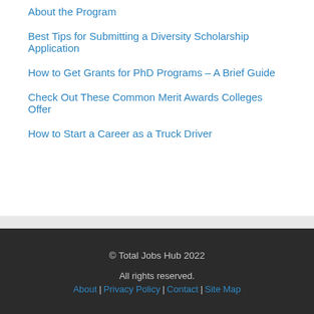About the Program
Best Tips for Submitting a Diversity Scholarship Application
How to Get Grants for PhD Programs – A Brief Guide
Check Out These Common Merit Awards Colleges Offer
How to Start a Career as a Truck Driver
© Total Jobs Hub 2022
All rights reserved.
About | Privacy Policy | Contact | Site Map